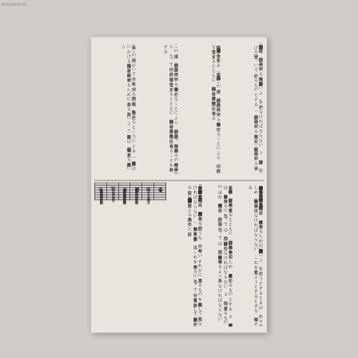□□□□□□□□□
[Figure (photo): Scanned Japanese/Chinese government document page with vertical text columns and a table in the lower left portion. The document contains dense vertical CJK text in multiple columns with a bordered table showing administrative or legal information.]
| 項目 | 内容 | 備考 |
| --- | --- | --- |
| （記載省略） | （記載省略） | （記載省略） |
（縦書き本文・詳細判読困難）